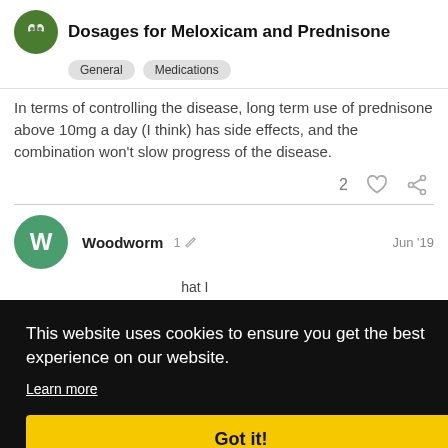Dosages for Meloxicam and Prednisone
General   Medications
In terms of controlling the disease, long term use of prednisone above 10mg a day (I think) has side effects, and the combination won't slow progress of the disease.
2 ♡ 🔗
Woodworm  1 ✏  Jun '19
hat I
b not
ng
on
ng
ay
This website uses cookies to ensure you get the best experience on our website.
Learn more
Got it!
with my doctor. But if an individual had p: